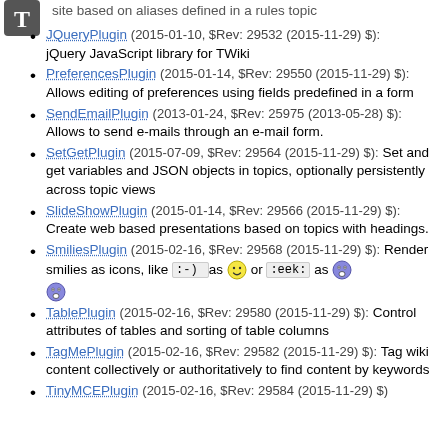site based on aliases defined in a rules topic
JQueryPlugin (2015-01-10, $Rev: 29532 (2015-11-29) $): jQuery JavaScript library for TWiki
PreferencesPlugin (2015-01-14, $Rev: 29550 (2015-11-29) $): Allows editing of preferences using fields predefined in a form
SendEmailPlugin (2013-01-24, $Rev: 25975 (2013-05-28) $): Allows to send e-mails through an e-mail form.
SetGetPlugin (2015-07-09, $Rev: 29564 (2015-11-29) $): Set and get variables and JSON objects in topics, optionally persistently across topic views
SlideShowPlugin (2015-01-14, $Rev: 29566 (2015-11-29) $): Create web based presentations based on topics with headings.
SmiliesPlugin (2015-02-16, $Rev: 29568 (2015-11-29) $): Render smilies as icons, like :-) as [smiley] or :eek: as [eek]
TablePlugin (2015-02-16, $Rev: 29580 (2015-11-29) $): Control attributes of tables and sorting of table columns
TagMePlugin (2015-02-16, $Rev: 29582 (2015-11-29) $): Tag wiki content collectively or authoritatively to find content by keywords
TinyMCEPlugin (2015-02-16, $Rev: 29584 (2015-11-29) $)